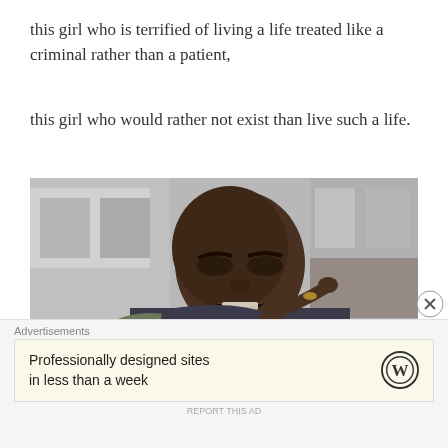this girl who is terrified of living a life treated like a criminal rather than a patient,
this girl who would rather not exist than live such a life.
[Figure (photo): A man with a shaved head appearing angry, pointing at the camera, photographed outdoors with blurred urban background]
Advertisements
Professionally designed sites in less than a week